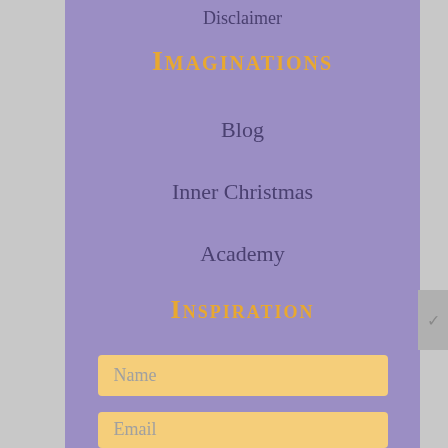Disclaimer
Imaginations
Blog
Inner Christmas
Academy
Inspiration
Name
Email